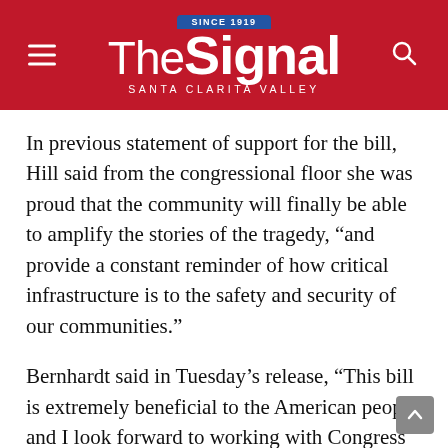The Signal — Santa Clarita Valley
In previous statement of support for the bill, Hill said from the congressional floor she was proud that the community will finally be able to amplify the stories of the tragedy, “and provide a constant reminder of how critical infrastructure is to the safety and security of our communities.”
Bernhardt said in Tuesday’s release, “This bill is extremely beneficial to the American people and I look forward to working with Congress and local communities to implement the many local conservation provisions within the bill.”